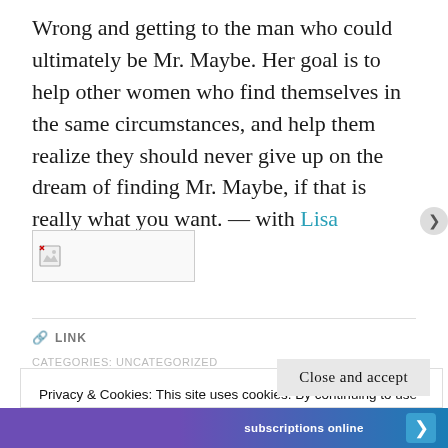Wrong and getting to the man who could ultimately be Mr. Maybe. Her goal is to help other women who find themselves in the same circumstances, and help them realize they should never give up on the dream of finding Mr. Maybe, if that is really what you want. — with Lisa Balthaser.
[Figure (photo): Broken image placeholder thumbnail]
LINK
CATEGORIES: UNCATEGORIZED
Privacy & Cookies: This site uses cookies. By continuing to use this website, you agree to their use.
To find out more, including how to control cookies, see here:
Cookie Policy
Close and accept
subscriptions online